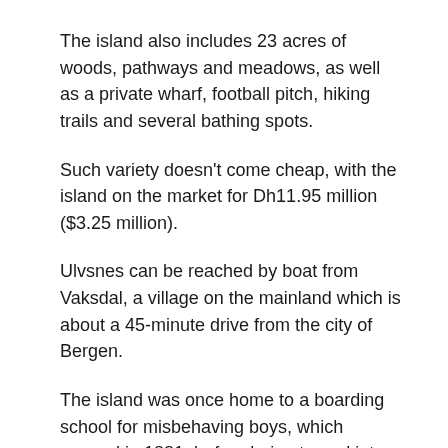The island also includes 23 acres of woods, pathways and meadows, as well as a private wharf, football pitch, hiking trails and several bathing spots.
Such variety doesn't come cheap, with the island on the market for Dh11.95 million ($3.25 million).
Ulvsnes can be reached by boat from Vaksdal, a village on the mainland which is about a 45-minute drive from the city of Bergen.
The island was once home to a boarding school for misbehaving boys, which opened in 1881, before being turned into a low-security prison in 1982.
While housing the boarding school, it became known by the nickname Devil's Island, although it now looks rather paradisicial. It was privately sold in recent years, with the owner turning it into a functioning farm, meaning there are also outhouses, workshops and garages across the island.
“The island has recently had horses, sheep, alpacas, pigs and poultry as well as several greenhouses for organic food production,” according to luxury goods seller JamesEdition,